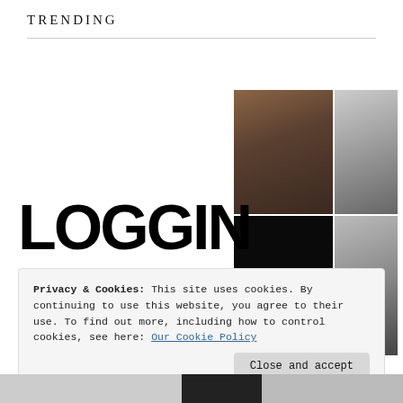Trending
[Figure (photo): Collage of four photos: top-left shows two young men in casual streetwear (one in red hat, one in blue jacket), top-right shows a black-and-white portrait of a young man, bottom-left is a dark box with a large white question mark, bottom-right is a black-and-white portrait of another person.]
LOGGIN
Privacy & Cookies: This site uses cookies. By continuing to use this website, you agree to their use. To find out more, including how to control cookies, see here: Our Cookie Policy
Close and accept